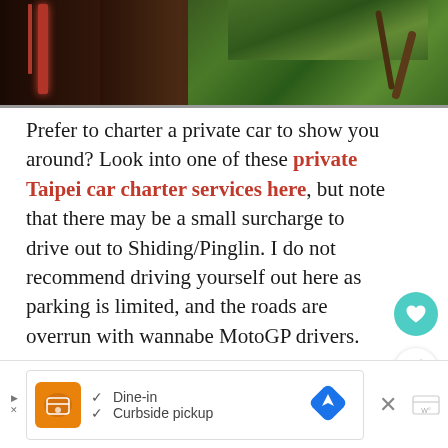[Figure (photo): Top strip photo showing a restaurant or shop exterior with red lantern/sign on left, dark wooden building, and dense green foliage/vines on the right side]
Prefer to charter a private car to show you around? Look into one of these private Taipei car charter services here, but note that there may be a small surcharge to drive out to Shiding/Pinglin. I do not recommend driving yourself out here as parking is limited, and the roads are overrun with wannabe MotoGP drivers.
[Figure (screenshot): Advertisement bar at bottom showing restaurant listing with orange logo, dine-in and curbside pickup checkmarks, navigation icon, close button, and Wordmark icon]